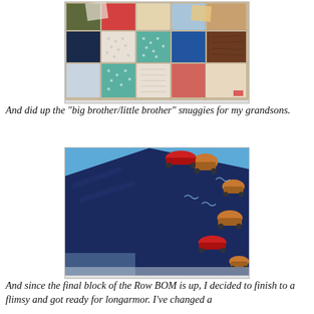[Figure (photo): Photo of colorful quilt fabric squares/patches arranged on a surface, showing various patterned fabrics in red, teal with dots, white, brown, blue, and other colors.]
And did up the "big brother/little brother" snuggies for my grandsons.
[Figure (photo): Photo of a blue blanket/snuggie with Disney Cars characters (Lightning McQueen, Mater) on light blue background, with a navy blue panel/flap folded over.]
And since the final block of the Row BOM is up, I decided to finish to a flimsy and got ready for longarmor. I've changed a